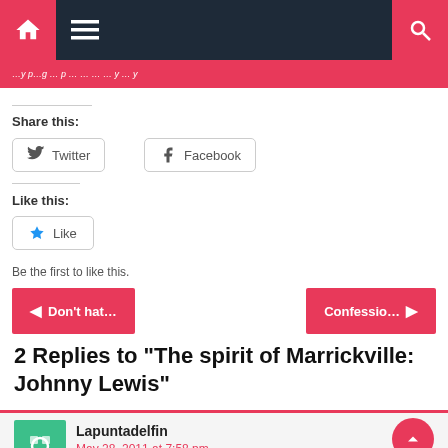Navigation bar with home, menu, and search
Share this:
Twitter  Facebook
Like this:
Like
Be the first to like this.
Don't hat...
Confessio...
2 Replies to “The spirit of Marrickville: Johnny Lewis”
Lapuntadelfin
May 28, 2011 at 7:58 pm